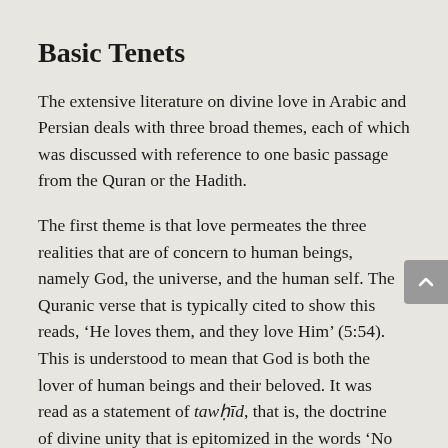Basic Tenets
The extensive literature on divine love in Arabic and Persian deals with three broad themes, each of which was discussed with reference to one basic passage from the Quran or the Hadith.
The first theme is that love permeates the three realities that are of concern to human beings, namely God, the universe, and the human self. The Quranic verse that is typically cited to show this reads, ‘He loves them, and they love Him’ (5:54). This is understood to mean that God is both the lover of human beings and their beloved. It was read as a statement of tawḥīd, that is, the doctrine of divine unity that is epitomized in the words ‘No god but God.’ One of the first implications of this verse is that there is no true lover but God, no true beloved but God.